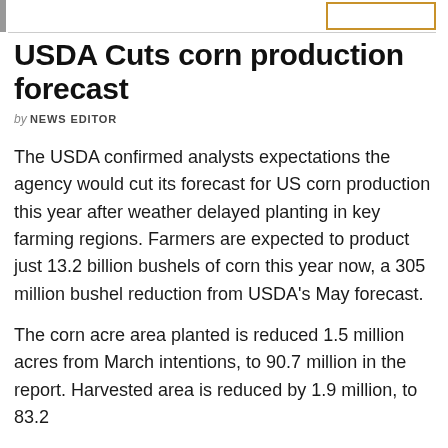USDA Cuts corn production forecast
by NEWS EDITOR
The USDA confirmed analysts expectations the agency would cut its forecast for US corn production this year after weather delayed planting in key farming regions. Farmers are expected to product just 13.2 billion bushels of corn this year now, a 305 million bushel reduction from USDA's May forecast.
The corn acre area planted is reduced 1.5 million acres from March intentions, to 90.7 million in the report. Harvested area is reduced by 1.9 million, to 83.2